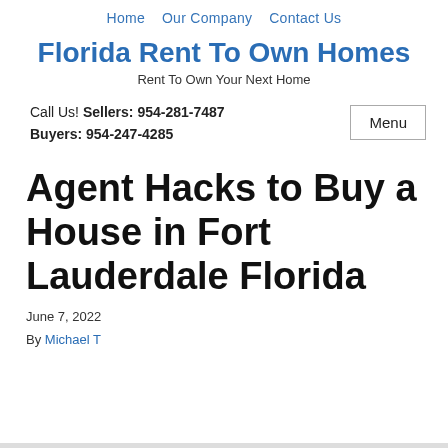Home   Our Company   Contact Us
Florida Rent To Own Homes
Rent To Own Your Next Home
Call Us! Sellers: 954-281-7487 Buyers: 954-247-4285
Agent Hacks to Buy a House in Fort Lauderdale Florida
June 7, 2022
By Michael T